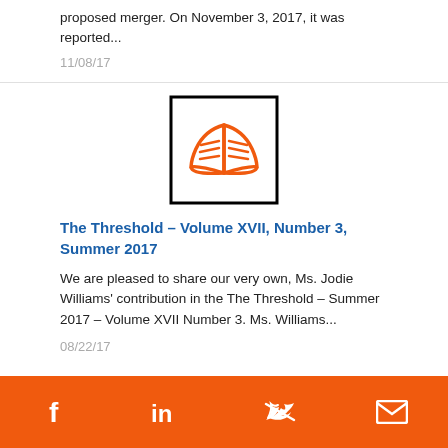proposed merger.  On November 3, 2017, it was reported...
11/08/17
[Figure (illustration): Open book icon with orange outline on white background, bordered by a black rectangle]
The Threshold – Volume XVII, Number 3, Summer 2017
We are pleased to share our very own, Ms. Jodie Williams' contribution in the The Threshold – Summer 2017 – Volume XVII Number 3. Ms. Williams...
08/22/17
Facebook  LinkedIn  Twitter  Email